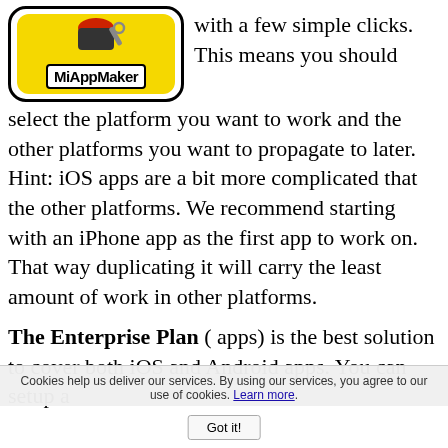[Figure (logo): MiAppMaker logo: yellow rounded rectangle with cartoon figure and 'MiAppMaker' text in a bordered label]
with a few simple clicks. This means you should select the platform you want to work and the other platforms you want to propagate to later. Hint: iOS apps are a bit more complicated that the other platforms. We recommend starting with an iPhone app as the first app to work on. That way duplicating it will carry the least amount of work in other platforms.
The Enterprise Plan ( apps) is the best solution to cover both iOS and Android apps. You can setup a
Cookies help us deliver our services. By using our services, you agree to our use of cookies. Learn more.
Got it!